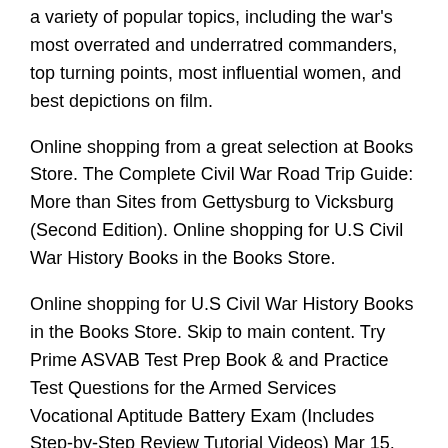a variety of popular topics, including the war's most overrated and underratred commanders, top turning points, most influential women, and best depictions on film.
Online shopping from a great selection at Books Store. The Complete Civil War Road Trip Guide: More than Sites from Gettysburg to Vicksburg (Second Edition). Online shopping for U.S Civil War History Books in the Books Store.
Online shopping for U.S Civil War History Books in the Books Store. Skip to main content. Try Prime ASVAB Test Prep Book & and Practice Test Questions for the Armed Services Vocational Aptitude Battery Exam (Includes Step-by-Step Review Tutorial Videos) Mar 15, The American Civil War (–) was a civil war in the United States of America.
Eleven Southern slave states declared their secession from the United States and formed the Confederate States of America, also known as "the Confederacy". Civil War Book Review is the journal of record for new and newly reprinted books about the Antebellum, Civil War, and Reconstruction eras.